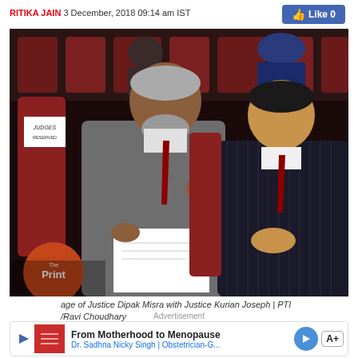RITIKA JAIN 3 December, 2018 09:14 am IST
[Figure (photo): Two men in suits seated in an auditorium with reserved 'JUDGES RESERVED' sign. One man in grey suit gestures with his hand holding papers, another in dark pinstripe suit listens. The Print logo visible in bottom left corner.]
age of Justice Dipak Misra with Justice Kurian Joseph | PTI
/Ravi Choudhary
Advertisement
From Motherhood to Menopause
Dr. Sadhna Nicky Singh | Obstetrician-G...